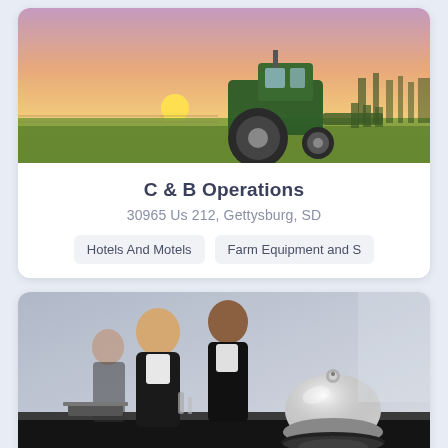[Figure (photo): A green tractor in a farm field at sunset, with orange and purple sky and rows of crops in background]
C & B Operations
30965 Us 212, Gettysburg, SD
Hotels And Motels
Farm Equipment and S
[Figure (photo): Hotel reception desk with two staff members in black suits and a silver service bell in the foreground on a dark reflective counter]
Holiday inn Express & Suites
1250 Ryan's Rd, Worthington, MN